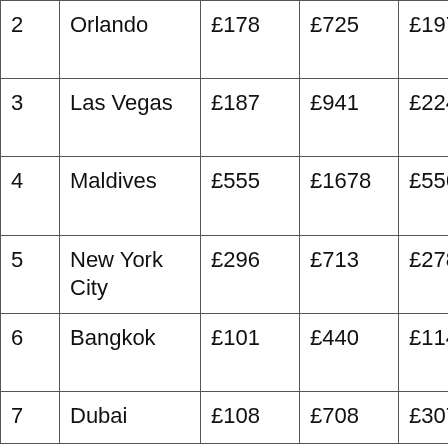| 2 | Orlando | £178 | £725 | £1973 | 2
S |
| 3 | Las Vegas | £187 | £941 | £2248 | 2
S |
| 4 | Maldives | £555 | £1678 | £5565 | 5
J |
| 5 | New York City | £296 | £713 | £2784 | 2
A |
| 6 | Bangkok | £101 | £440 | £1144 | 2
J |
| 7 | Dubai | £108 | £708 | £3077 | 1 |